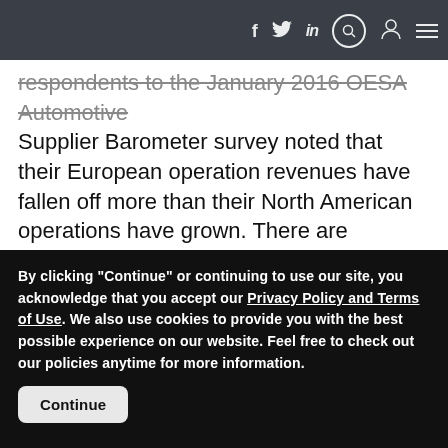Navigation bar with social icons (Facebook, Twitter, LinkedIn), search, user, and menu icons
respondents to the January 2016 OESA Automotive Supplier Barometer survey noted that their European operation revenues have fallen off more than their North American operations have grown. There are implications in both regions. Publicly owned suppliers are being proactive and reporting write-offs for European restructuring. As one OESA member noted in a recent discussion, “[We are] reducing headcount and facilities as opportunities present; [however, it is] difficult to downsize with social costs.” However, after the near-death
By clicking “Continue” or continuing to use our site, you acknowledge that you accept our Privacy Policy and Terms of Use. We also use cookies to provide you with the best possible experience on our website. Feel free to check out our policies anytime for more information.